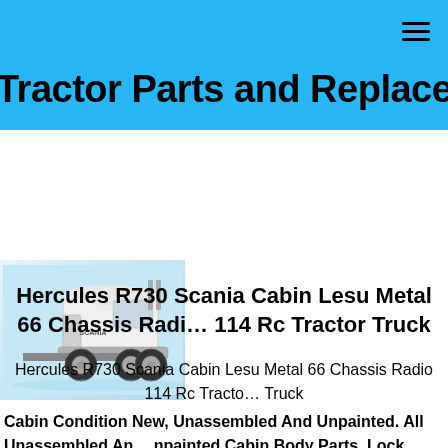Tractor Parts and Replacement
[Figure (photo): White Scania R730 model RC tractor truck on light blue reflective surface, with chrome wheels and detailed cab]
Hercules R730 Scania Cabin Lesu Metal 66 Chassis Radio 114 Rc Tractor Truck
Hercules R730 Scania Cabin Lesu Metal 66 Chassis Radio 114 Rc Tractor Truck
Cabin Condition New, Unassembled And Unpainted. All Unassembled And Unpainted Cabin Body Parts. Lock Differential Servo. Model Tools, Such A